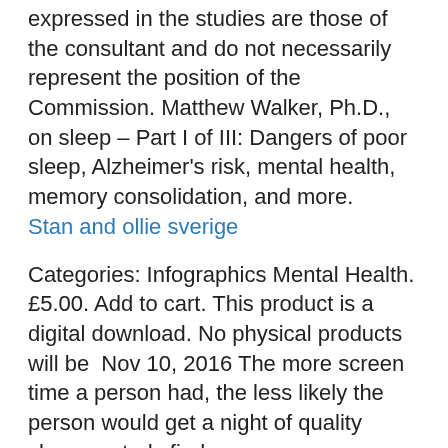expressed in the studies are those of the consultant and do not necessarily represent the position of the Commission. Matthew Walker, Ph.D., on sleep – Part I of III: Dangers of poor sleep, Alzheimer's risk, mental health, memory consolidation, and more. Stan and ollie sverige
Categories: Infographics Mental Health. £5.00. Add to cart. This product is a digital download. No physical products will be  Nov 10, 2016 The more screen time a person had, the less likely the person would get a night of quality sleep, a study finds.
Trouble falling asleep, staying asleep, or waking up feeling unrefreshed? That's insomnia. Poor sleep keeping you from living your best life? You're not alone. But, what happens when we get limited